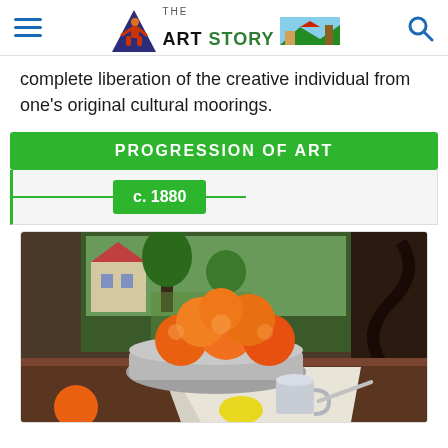The Art Story
complete liberation of the creative individual from one's original cultural moorings.
PROGRESSION OF ART
c. 1880
[Figure (photo): A still life painting showing a bowl of oranges on a table with a white cup and other items, with a window in the background showing greenery and a house. Style consistent with Paul Gauguin c.1880.]